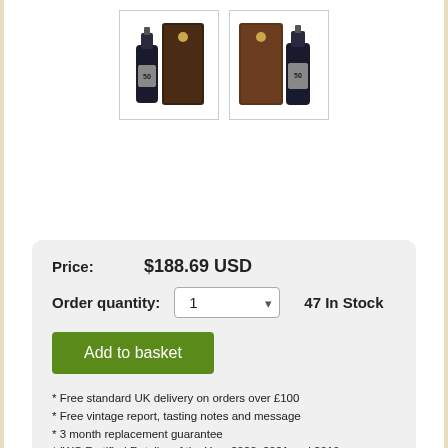[Figure (photo): Two thumbnail images of a port wine bottle (50 year old) with dark box packaging, shown from slightly different angles.]
Price: $188.69 USD
Order quantity: 1  47 In Stock
Add to basket
* Free standard UK delivery on orders over £100
* Free vintage report, tasting notes and message
* 3 month replacement guarantee
* IWC Fortified Retailer of the Year 2022, 2021 and 2019
* 5 Star Trusted Shops rating